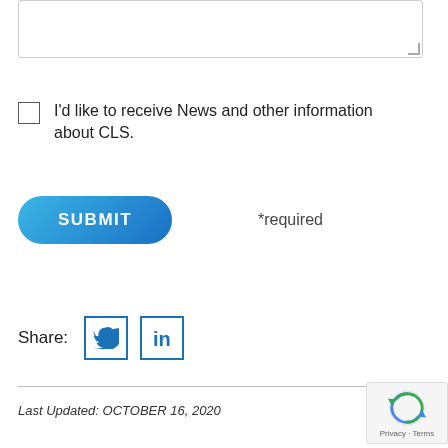[Figure (other): Text area input box, empty, with resize handle at bottom-right corner]
I'd like to receive News and other information about CLS.
SUBMIT
*required
Share:
[Figure (other): Twitter bird icon in a square border]
[Figure (other): LinkedIn 'in' icon in a square border]
Last Updated: OCTOBER 16, 2020
[Figure (other): reCAPTCHA badge with Privacy and Terms links]